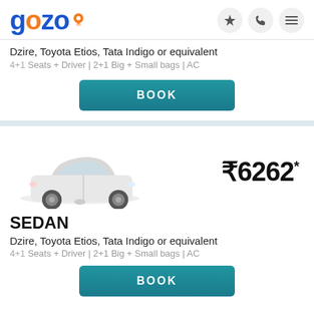[Figure (logo): gozo logo with location pin icon]
Dzire, Toyota Etios, Tata Indigo or equivalent
4+1 Seats + Driver | 2+1 Big + Small bags | AC
[Figure (other): BOOK button - teal/blue gradient]
[Figure (photo): White sedan car image]
₹6262*
SEDAN
Dzire, Toyota Etios, Tata Indigo or equivalent
4+1 Seats + Driver | 2+1 Big + Small bags | AC
[Figure (other): BOOK button - teal/blue gradient]